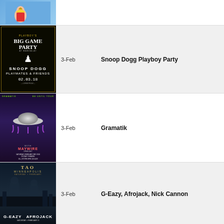[Figure (illustration): Blue illustrated poster thumbnail, top row]
[Figure (photo): Playboy's Big Game Party poster featuring Snoop Dogg, Playmates & Friends, date 02.03.18, dark background with gold border and Playboy bunny logo]
3-Feb    Snoop Dogg Playboy Party
[Figure (photo): Gramatik Be Until Tour poster with stylized saucer/spaceship graphic on purple background, with Maywire opener, Saturday February 3rd 2018, Sydney Theatre]
3-Feb    Gramatik
[Figure (photo): TAO Minneapolis event poster featuring G-Eazy and Afrojack on dark background with city skyline silhouette]
3-Feb    G-Eazy,  Afrojack, Nick Cannon